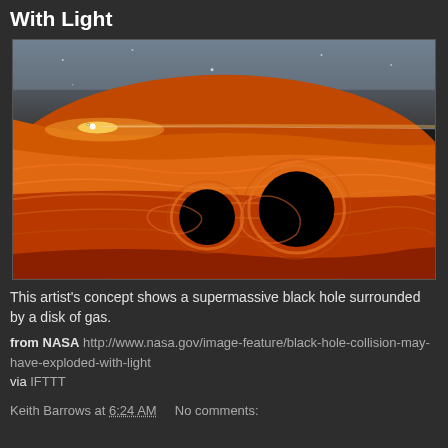With Light
[Figure (illustration): Artist's concept showing a supermassive black hole surrounded by a swirling disk of orange-red gas, with two smaller black holes visible in the disk and a bright light flare at upper left against a grey cosmic background.]
This artist's concept shows a supermassive black hole surrounded by a disk of gas.
from NASA http://www.nasa.gov/image-feature/black-hole-collision-may-have-exploded-with-light
via IFTTT
Keith Barrows at 6:24 AM    No comments: